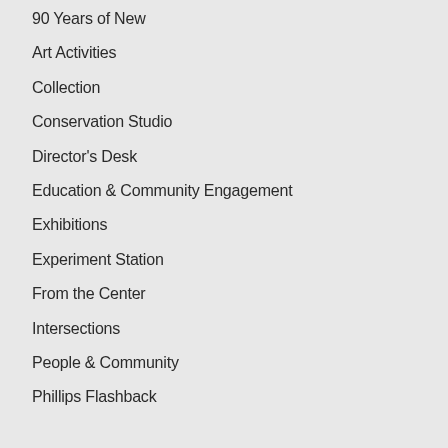90 Years of New
Art Activities
Collection
Conservation Studio
Director's Desk
Education & Community Engagement
Exhibitions
Experiment Station
From the Center
Intersections
People & Community
Phillips Flashback